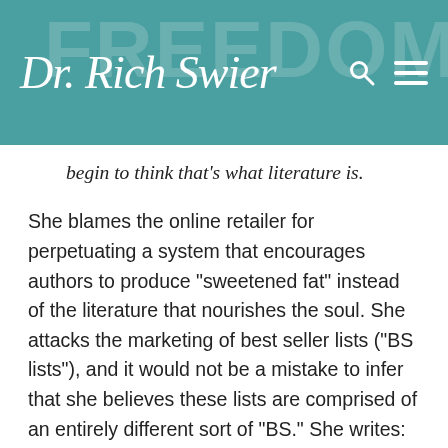Dr. Rich Swier
begin to think that's what literature is.
She blames the online retailer for perpetuating a system that encourages authors to produce “sweetened fat” instead of the literature that nourishes the soul. She attacks the marketing of best seller lists (“BS lists”), and it would not be a mistake to infer that she believes these lists are comprised of an entirely different sort of “BS.” She writes:
Best Seller lists are generated by obscure processes, which I consider (perhaps